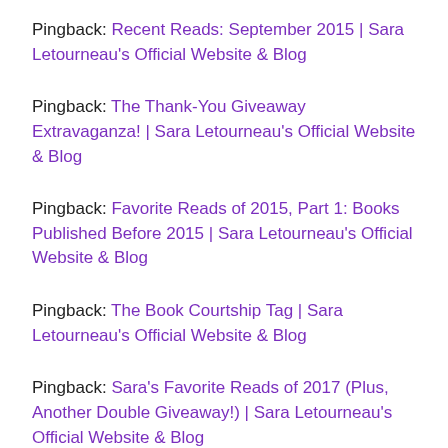Pingback: Recent Reads: September 2015 | Sara Letourneau's Official Website & Blog
Pingback: The Thank-You Giveaway Extravaganza! | Sara Letourneau's Official Website & Blog
Pingback: Favorite Reads of 2015, Part 1: Books Published Before 2015 | Sara Letourneau's Official Website & Blog
Pingback: The Book Courtship Tag | Sara Letourneau's Official Website & Blog
Pingback: Sara's Favorite Reads of 2017 (Plus, Another Double Giveaway!) | Sara Letourneau's Official Website & Blog